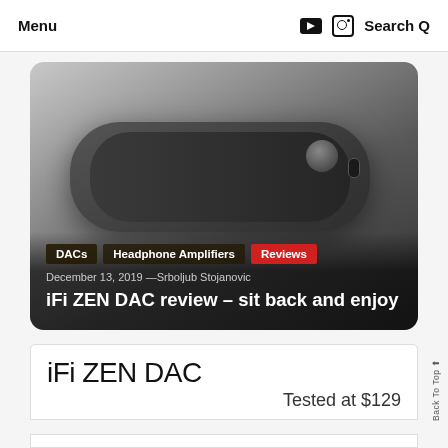Menu   Search
[Figure (photo): iFi ZEN DAC device photo — a dark rounded rectangular DAC/amplifier unit against a grey gradient background]
DACs   Headphone Amplifiers   Reviews
December 13, 2019 —Srboljub Stojanovic
iFi ZEN DAC review – sit back and enjoy
iFi ZEN DAC
Tested at $129